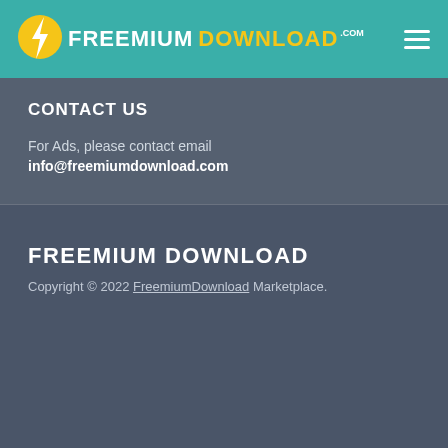[Figure (logo): FreemiumDownload.com logo with lightning bolt icon on teal header bar, hamburger menu icon on right]
CONTACT US
For Ads, please contact email
info@freemiumdownload.com
FREEMIUM DOWNLOAD
Copyright © 2022 FreemiumDownload Marketplace.